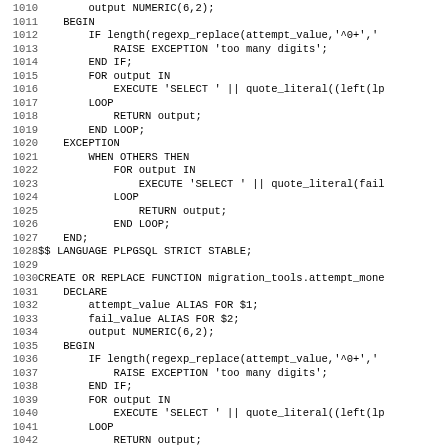Code listing lines 1010-1042, SQL/PLPGSQL source code